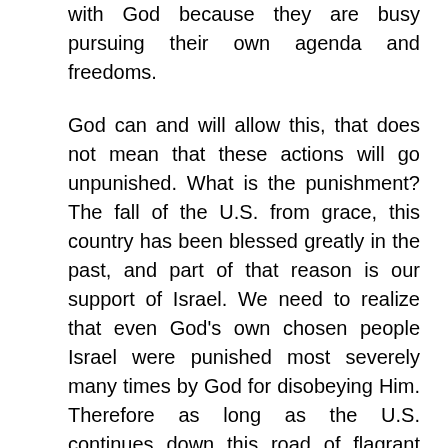with God because they are busy pursuing their own agenda and freedoms.
God can and will allow this, that does not mean that these actions will go unpunished. What is the punishment? The fall of the U.S. from grace, this country has been blessed greatly in the past, and part of that reason is our support of Israel. We need to realize that even God's own chosen people Israel were punished most severely many times by God for disobeying Him. Therefore as long as the U.S. continues down this road of flagrant disregard for God and His precepts, things will continue to worsen until this country repents of it's evil.
Worse yet, people have invented their own notion, of who god should be, and when you start defining